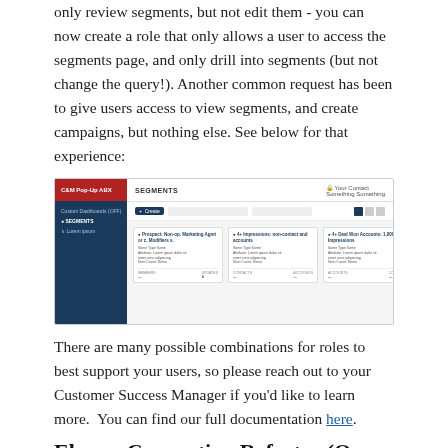only review segments, but not edit them - you can now create a role that only allows a user to access the segments page, and only drill into segments (but not change the query!). Another common request has been to give users access to view segments, and create campaigns, but nothing else. See below for that experience:
[Figure (screenshot): Screenshot of a segments page in a marketing platform showing a dark blue sidebar with navigation and three segment cards in the main content area.]
There are many possible combinations for roles to best support your users, so please reach out to your Customer Success Manager if you'd like to learn more.  You can find our full documentation here.
Eloqua Connection Refactor (Open